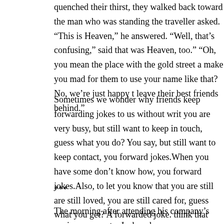quenched their thirst, they walked back toward the man who was standing the traveller asked. “This is Heaven,” he answered. “Well, that’s confusing,” said that was Heaven, too.” “Oh, you mean the place with the gold street a make you mad for them to use your name like that? No, we’re just happy t leave their best friends behind.”
Sometimes we wonder why friends keep forwarding jokes to us without writ you are very busy, but still want to keep in touch, guess what you do? You say, but still want to keep contact, you forward jokes.When you have some don’t know how, you forward jokes.Also, to let you know that you are still are still loved, you are still cared for, guess what you get? A forwarded joke. think that you’ve been sent just another forwarded joke, but that you’ve be other end of your computer wanted to send you a smile.You are all welcom
***
The morning after attending his company’s anniversary party, Jack wakes